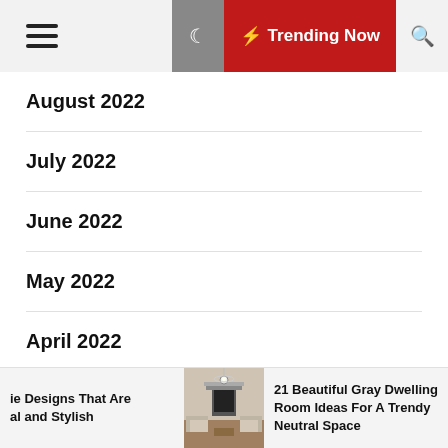≡  ☽  ⚡ Trending Now  🔍
August 2022
July 2022
June 2022
May 2022
April 2022
March 2022
February 2022
[Figure (photo): Interior room photo showing a gray dwelling room with fireplace and seating]
ie Designs That Are al and Stylish
21 Beautiful Gray Dwelling Room Ideas For A Trendy Neutral Space